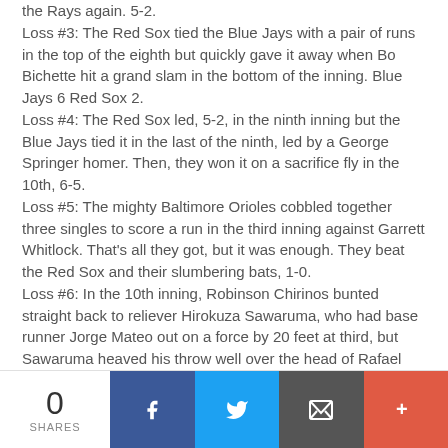the Rays again. 5-2.
Loss #3: The Red Sox tied the Blue Jays with a pair of runs in the top of the eighth but quickly gave it away when Bo Bichette hit a grand slam in the bottom of the inning. Blue Jays 6 Red Sox 2.
Loss #4: The Red Sox led, 5-2, in the ninth inning but the Blue Jays tied it in the last of the ninth, led by a George Springer homer. Then, they won it on a sacrifice fly in the 10th, 6-5.
Loss #5: The mighty Baltimore Orioles cobbled together three singles to score a run in the third inning against Garrett Whitlock. That's all they got, but it was enough. They beat the Red Sox and their slumbering bats, 1-0.
Loss #6: In the 10th inning, Robinson Chirinos bunted straight back to reliever Hirokuza Sawaruma, who had base runner Jorge Mateo out on a force by 20 feet at third, but Sawaruma heaved his throw well over the head of Rafael Devers as Mateo jogged home with the winning run. 2-1.
Loss #7: The Red Sox finally lost one the old fashioned way.
0 SHARES | Facebook | Twitter | Email | More